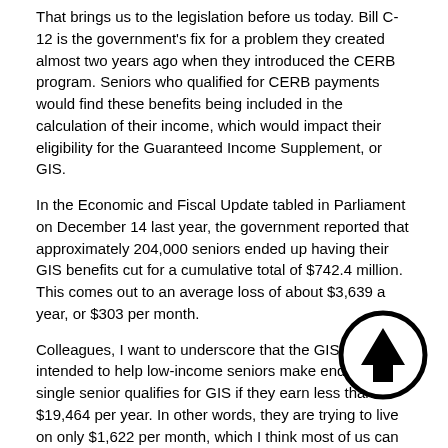That brings us to the legislation before us today. Bill C-12 is the government's fix for a problem they created almost two years ago when they introduced the CERB program. Seniors who qualified for CERB payments would find these benefits being included in the calculation of their income, which would impact their eligibility for the Guaranteed Income Supplement, or GIS.
In the Economic and Fiscal Update tabled in Parliament on December 14 last year, the government reported that approximately 204,000 seniors ended up having their GIS benefits cut for a cumulative total of $742.4 million. This comes out to an average loss of about $3,639 a year, or $303 per month.
Colleagues, I want to underscore that the GIS is intended to help low-income seniors make ends meet. A single senior qualifies for GIS if they earn less than $19,464 per year. In other words, they are trying to live on only $1,622 per month, which I think most of us can appreciate is next to impossible.
But remember, this is the upper threshold, which means many GIS recipients live on even less. You can quickly see how a loss of $303 per month would be a crushing loss of income for these seniors.
(1630)